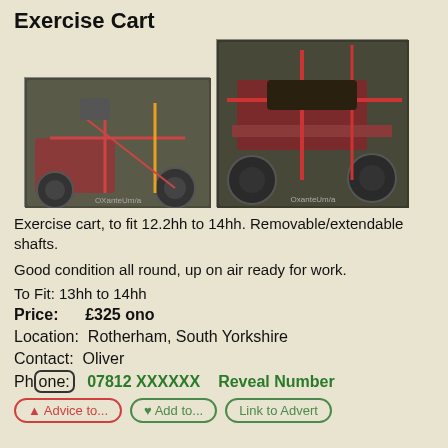Exercise Cart
[Figure (photo): Two photos of an exercise cart: left photo shows cart from side angle in a yard with multiple carts behind it; right photo shows a closer view of the rust-colored exercise cart with seat and wheels visible.]
Exercise cart, to fit 12.2hh to 14hh. Removable/extendable shafts.
Good condition all round, up on air ready for work.
To Fit: 13hh to 14hh
Price:      £325 ono
Location:  Rotherham, South Yorkshire
Contact:  Oliver
Phone:  07812 XXXXXX    Reveal Number